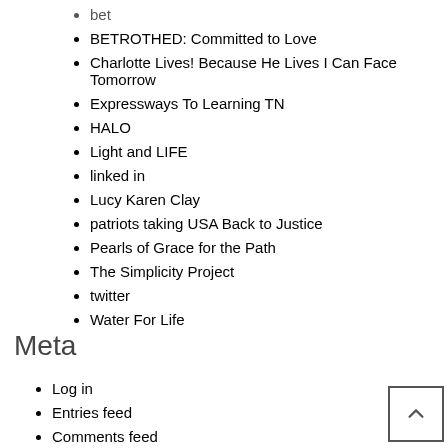bet
BETROTHED: Committed to Love
Charlotte Lives! Because He Lives I Can Face Tomorrow
Expressways To Learning TN
HALO
Light and LIFE
linked in
Lucy Karen Clay
patriots taking USA Back to Justice
Pearls of Grace for the Path
The Simplicity Project
twitter
Water For Life
Meta
Log in
Entries feed
Comments feed